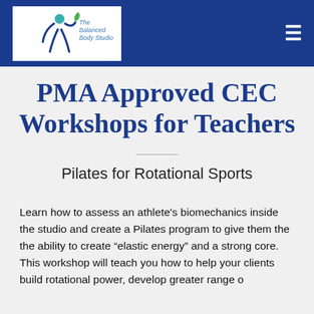The Balanced Body Studio [logo] [menu]
PMA Approved CEC Workshops for Teachers
Pilates for Rotational Sports
Learn how to assess an athlete's biomechanics inside the studio and create a Pilates program to give them the the ability to create “elastic energy” and a strong core. This workshop will teach you how to help your clients build rotational power, develop greater range o